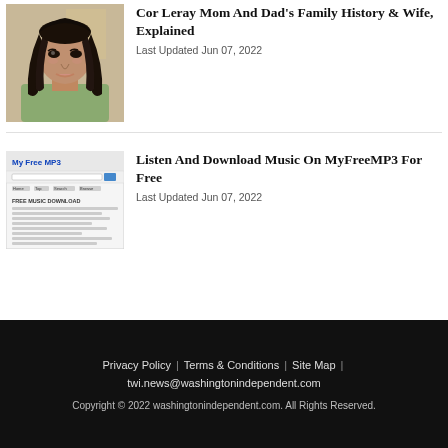[Figure (photo): Portrait photo of a young woman with long braided hair, wearing a tank top, looking at camera.]
Cor Leray Mom And Dad's Family History & Wife, Explained
Last Updated Jun 07, 2022
[Figure (screenshot): Screenshot of MyFreeMP3 website showing the logo and a free music download page.]
Listen And Download Music On MyFreeMP3 For Free
Last Updated Jun 07, 2022
Privacy Policy | Terms & Conditions | Site Map | twi.news@washingtonindependent.com
Copyright © 2022 washingtonindependent.com. All Rights Reserved.